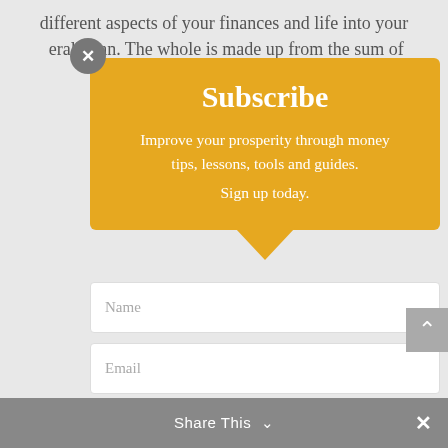different aspects of your finances and life into your overall plan. The whole is made up from the sum of
Subscribe
Improve your prosperity through money tips, lessons, tools and guides.
Sign up today.
Name
Email
Sign Up
Your details will not be provided to any third party.
Share This